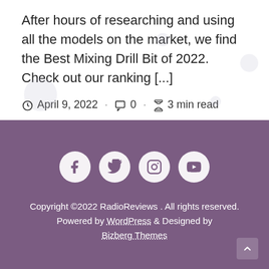After hours of researching and using all the models on the market, we find the Best Mixing Drill Bit of 2022. Check out our ranking [...]
April 9, 2022 · 0 · 3 min read
[Figure (other): Social media icons: Facebook, Twitter, Instagram, YouTube]
Copyright ©2022 RadioReviews . All rights reserved. Powered by WordPress & Designed by Bizberg Themes